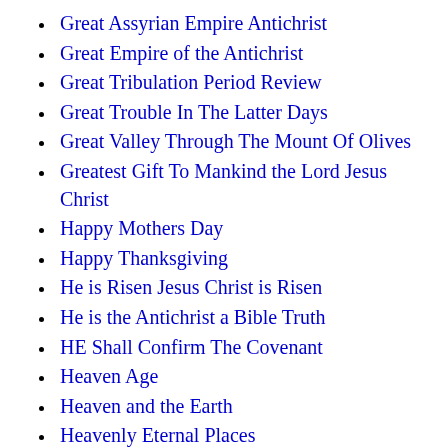Great Assyrian Empire Antichrist
Great Empire of the Antichrist
Great Tribulation Period Review
Great Trouble In The Latter Days
Great Valley Through The Mount Of Olives
Greatest Gift To Mankind the Lord Jesus Christ
Happy Mothers Day
Happy Thanksgiving
He is Risen Jesus Christ is Risen
He is the Antichrist a Bible Truth
HE Shall Confirm The Covenant
Heaven Age
Heaven and the Earth
Heavenly Eternal Places
Heavenly Mount Zion